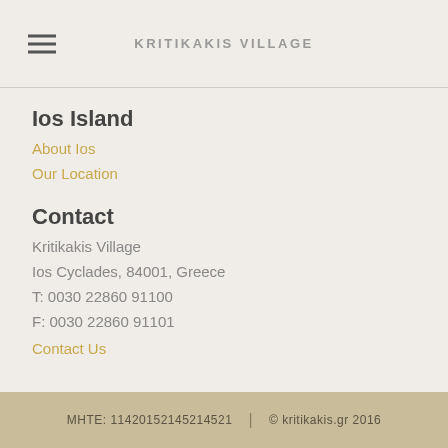KRITIKAKIS VILLAGE
Ios Island
About Ios
Our Location
Contact
Kritikakis Village
Ios Cyclades, 84001, Greece
T: 0030 22860 91100
F: 0030 22860 91101
Contact Us
MHTE: 11420152145214521 | © kritikakis.gr 2016